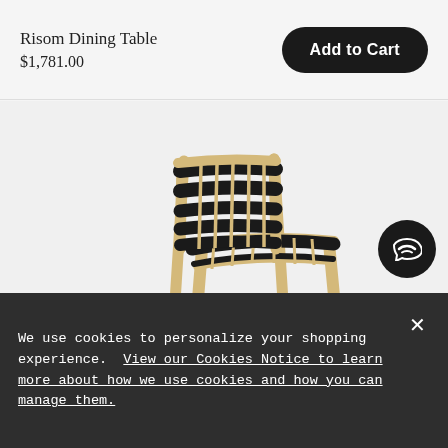Risom Dining Table
$1,781.00
Add to Cart
[Figure (photo): A mid-century modern dining chair with a natural wood frame and woven black webbing on the seat and backrest, shown at an angle on a light grey background.]
We use cookies to personalize your shopping experience. View our Cookies Notice to learn more about how we use cookies and how you can manage them.